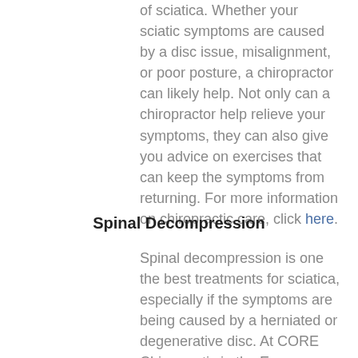of sciatica.  Whether your sciatic symptoms are caused by a disc issue, misalignment, or poor posture, a chiropractor can likely help.  Not only can a chiropractor help relieve your symptoms, they can also give you advice on exercises that can keep the symptoms from returning. For more information on chiropractic care, click here.
Spinal Decompression
Spinal decompression is one the best treatments for sciatica, especially if the symptoms are being caused by a herniated or degenerative disc.  At CORE Chiropractic in the Energy Corridor, we use the Back on Trac to help relieve